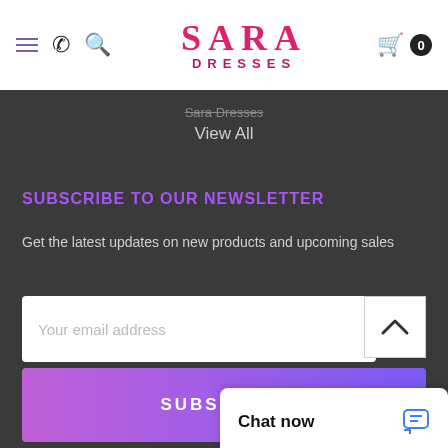Sara Dresses - navigation bar with hamburger menu, phone, search, logo, cart
Sara Dresses
View All
SUBSCRIBE TO OUR NEWSLETTER
Get the latest updates on new products and upcoming sales
Your email address
SUBSCRIBE
CONNECT WITH US
Chat now